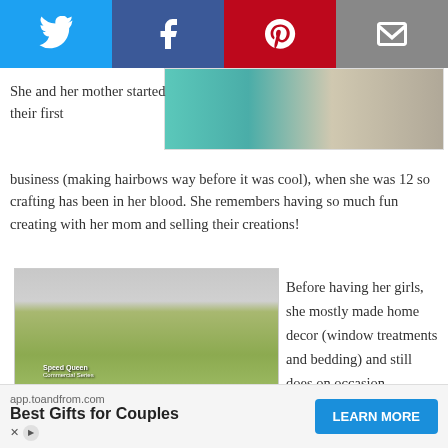[Figure (other): Social media sharing buttons bar: Twitter (blue), Facebook (dark blue), Pinterest (red), Email (grey)]
[Figure (photo): Partial photo showing a person in teal/green dress on right side]
She and her mother started their first business (making hairbows way before it was cool), when she was 12 so crafting has been in her blood. She remembers having so much fun creating with her mom and selling their creations!
[Figure (photo): A child sitting on a commercial Speed Queen washer wearing a white top and green floral skirt, barefoot]
Before having her girls, she mostly made home decor (window treatments and bedding) and still does on occasion.
For the last four years, she has focused on children's apparel inspired by her favorite fabrics and cold... T, hot weather...
[Figure (other): Advertisement banner: app.toandfrom.com - Best Gifts for Couples - LEARN MORE button]